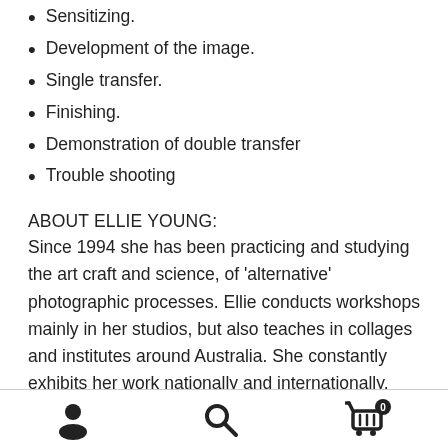Sensitizing.
Development of the image.
Single transfer.
Finishing.
Demonstration of double transfer
Trouble shooting
ABOUT ELLIE YOUNG:
Since 1994 she has been practicing and studying the art craft and science, of 'alternative' photographic processes. Ellie conducts workshops mainly in her studios, but also teaches in collages and institutes around Australia. She constantly exhibits her work nationally and internationally. More about Ellie >
[user icon] [search icon] [cart icon with badge 0]